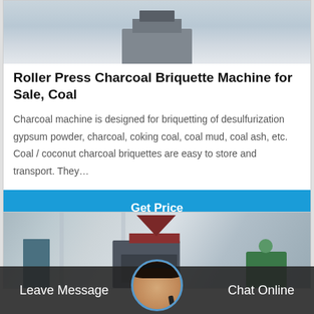[Figure (photo): Top portion of a roller press charcoal briquette machine in a factory setting, showing machinery against a light background]
Roller Press Charcoal Briquette Machine for Sale, Coal
Charcoal machine is designed for briquetting of desulfurization gypsum powder, charcoal, coking coal, coal mud, coal ash, etc. Coal / coconut charcoal briquettes are easy to store and transport. They…
Get Price
[Figure (photo): Second roller press charcoal briquette machine shown in a warehouse/factory environment with green and dark grey components]
Leave Message
Chat Online